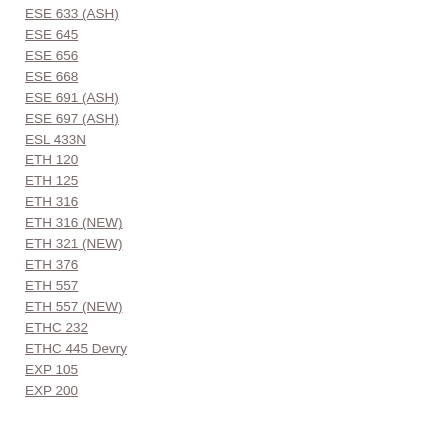ESE 633 (ASH)
ESE 645
ESE 656
ESE 668
ESE 691 (ASH)
ESE 697 (ASH)
ESL 433N
ETH 120
ETH 125
ETH 316
ETH 316 (NEW)
ETH 321 (NEW)
ETH 376
ETH 557
ETH 557 (NEW)
ETHC 232
ETHC 445 Devry
EXP 105
EXP 200